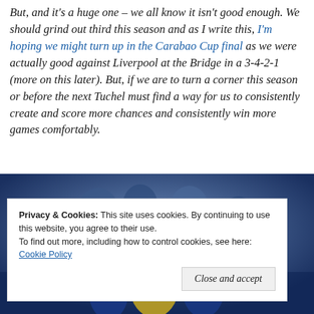But, and it's a huge one – we all know it isn't good enough. We should grind out third this season and as I write this, I'm hoping we might turn up in the Carabao Cup final as we were actually good against Liverpool at the Bridge in a 3-4-2-1 (more on this later). But, if we are to turn a corner this season or before the next Tuchel must find a way for us to consistently create and score more chances and consistently win more games comfortably.
[Figure (photo): Photo of football/soccer players, partially visible, blurred background in blue stadium colors. Partially obscured by cookie banner.]
Privacy & Cookies: This site uses cookies. By continuing to use this website, you agree to their use.
To find out more, including how to control cookies, see here: Cookie Policy
Close and accept